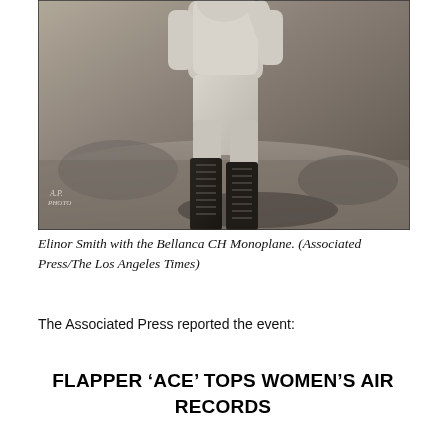[Figure (photo): Black and white photograph of Elinor Smith standing outdoors, wearing light-colored aviator attire and tall lace-up boots, with rocky ground visible. AP Photo watermark visible in lower left corner.]
Elinor Smith with the Bellanca CH Monoplane. (Associated Press/The Los Angeles Times)
The Associated Press reported the event:
FLAPPER 'ACE' TOPS WOMEN'S AIR RECORDS